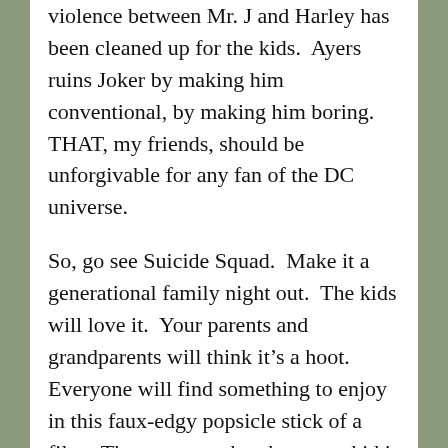violence between Mr. J and Harley has been cleaned up for the kids.  Ayers ruins Joker by making him conventional, by making him boring.  THAT, my friends, should be unforgivable for any fan of the DC universe.
So, go see Suicide Squad.  Make it a generational family night out.  The kids will love it.  Your parents and grandparents will think it’s a hoot.  Everyone will find something to enjoy in this faux-edgy popsicle stick of a film.  Then next week, when your kid is at school, check under her bed for paraphernalia.  If you find a copy of Suicide Squad, Vol. I, Kicked in the Teeth, you will know your kid is actually the real thing.  Cool.  Unlike the very uncool, un-DC, Ayers’ film.